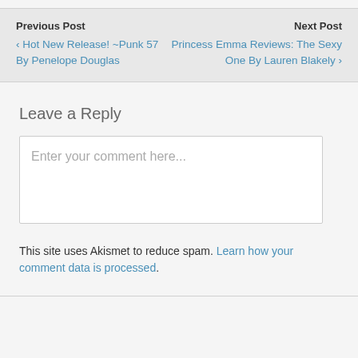Previous Post
< Hot New Release! ~Punk 57 By Penelope Douglas
Next Post
Princess Emma Reviews: The Sexy One By Lauren Blakely >
Leave a Reply
Enter your comment here...
This site uses Akismet to reduce spam. Learn how your comment data is processed.